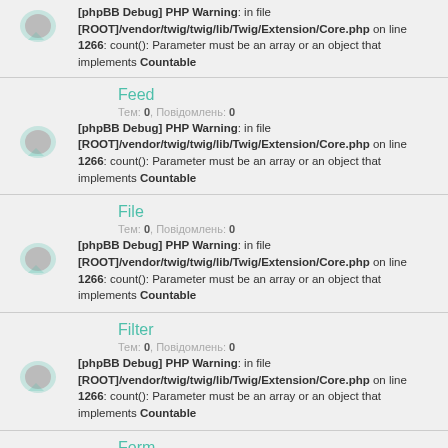[phpBB Debug] PHP Warning: in file [ROOT]/vendor/twig/twig/lib/Twig/Extension/Core.php on line 1266: count(): Parameter must be an array or an object that implements Countable
Feed
Тем: 0, Повідомлень: 0
[phpBB Debug] PHP Warning: in file [ROOT]/vendor/twig/twig/lib/Twig/Extension/Core.php on line 1266: count(): Parameter must be an array or an object that implements Countable
File
Тем: 0, Повідомлень: 0
[phpBB Debug] PHP Warning: in file [ROOT]/vendor/twig/twig/lib/Twig/Extension/Core.php on line 1266: count(): Parameter must be an array or an object that implements Countable
Filter
Тем: 0, Повідомлень: 0
[phpBB Debug] PHP Warning: in file [ROOT]/vendor/twig/twig/lib/Twig/Extension/Core.php on line 1266: count(): Parameter must be an array or an object that implements Countable
Form